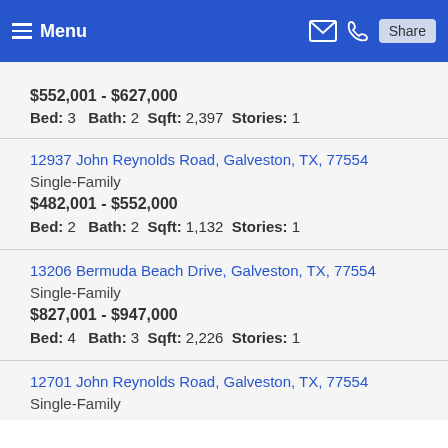Menu | Share
$552,001 - $627,000
Bed: 3   Bath: 2   Sqft: 2,397   Stories: 1
12937 John Reynolds Road, Galveston, TX, 77554
Single-Family
$482,001 - $552,000
Bed: 2   Bath: 2   Sqft: 1,132   Stories: 1
13206 Bermuda Beach Drive, Galveston, TX, 77554
Single-Family
$827,001 - $947,000
Bed: 4   Bath: 3   Sqft: 2,226   Stories: 1
12701 John Reynolds Road, Galveston, TX, 77554
Single-Family